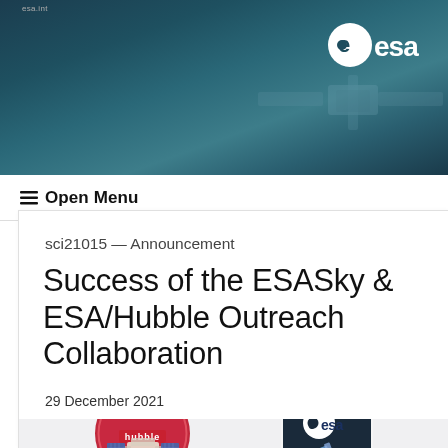ESA header with logo
≡ Open Menu
sci21015 — Announcement
Success of the ESASky & ESA/Hubble Outreach Collaboration
29 December 2021
[Figure (illustration): Two circular/square badges: left is the NASA|ESA Hubble mission patch (red circular badge with Hubble Space Telescope illustration), right is an ESA logo badge on dark background with telescope illustration.]